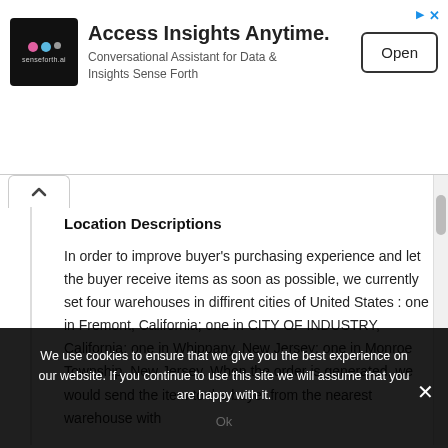[Figure (screenshot): Ad banner for senseforth.ai — logo on left, 'Access Insights Anytime.' headline, subtitle 'Conversational Assistant for Data & Insights Sense Forth', and an 'Open' button on the right]
Location Descriptions
In order to improve buyer's purchasing experience and let the buyer receive items as soon as possible, we currently set four warehouses in diffirent cities of United States : one in Fremont, California; one in CITY OF INDUSTRY, California; one in Whippany, New Jersey; one in Monroe Township, New Jersey. When the order is generated, we would send the item to the buyer from the nearest warehouse with sufficient inventory to the order receiving address. Here
We use cookies to ensure that we give you the best experience on our website. If you continue to use this site we will assume that you are happy with it.
Ok